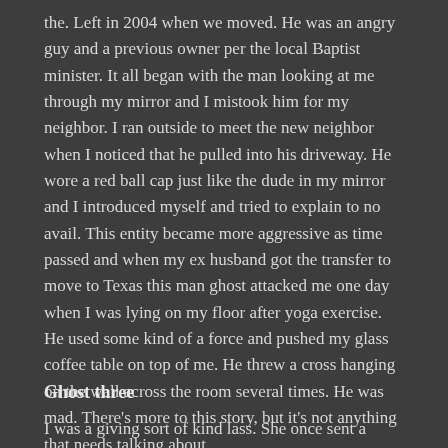the. Left in 2004 when we moved. He was an angry guy and a previous owner per the local Baptist minister. It all began with the man looking at me through my mirror and I mistook him for my neighbor. I ran outside to meet the new neighbor when I noticed that he pulled into his driveway. He wore a red ball cap just like the dude in my mirror and I introduced myself and tried to explain to no avail. This entity became more aggressive as time passed and when my ex husband got the transfer to move to Texas this man ghost attacked me one day when I was lying on my floor after yoga exercise. He used some kind of a force and pushed my glass coffee table on top of me. He threw a cross hanging on the wall across the room several times. He was mad. There's more to this story, but it's not anything that needs talking about.
Ghost three
A partial line of text beginning at the bottom of the page...